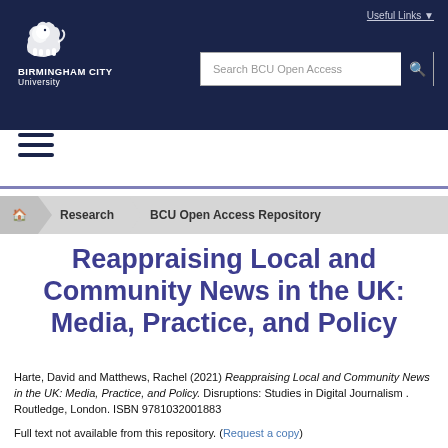Birmingham City University — BCU Open Access
[Figure (logo): Birmingham City University lion logo and wordmark in white on dark navy header]
Useful Links
Search BCU Open Access
☰ (hamburger menu icon)
🏠 Research BCU Open Access Repository (breadcrumb navigation)
Reappraising Local and Community News in the UK: Media, Practice, and Policy
Harte, David and Matthews, Rachel (2021) Reappraising Local and Community News in the UK: Media, Practice, and Policy. Disruptions: Studies in Digital Journalism . Routledge, London. ISBN 9781032001883
Full text not available from this repository. (Request a copy)